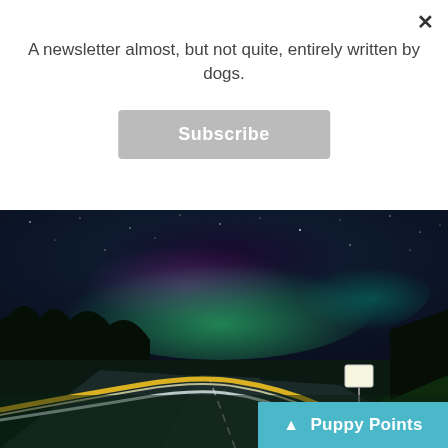A newsletter almost, but not quite, entirely written by dogs.
Subscribe
[Figure (photo): Night-time long-exposure photo of a curved highway with yellow and white light trails from a vehicle, under a sky showing the Northern Lights (aurora borealis) in green and purple hues, with silhouetted trees on both sides and a road sign on the right.]
▲ Puppy Points